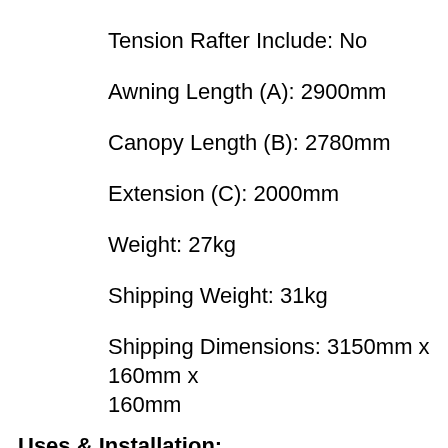Tension Rafter Include: No
Awning Length (A): 2900mm
Canopy Length (B): 2780mm
Extension (C): 2000mm
Weight: 27kg
Shipping Weight: 31kg
Shipping Dimensions: 3150mm x 160mm x 160mm
Uses & Installation:
The F80 S is designed primarily for camper van and motorhome installations
It is a compact roof mounted wind out awning
The F80 S replaces the F65 awning and features some improvements